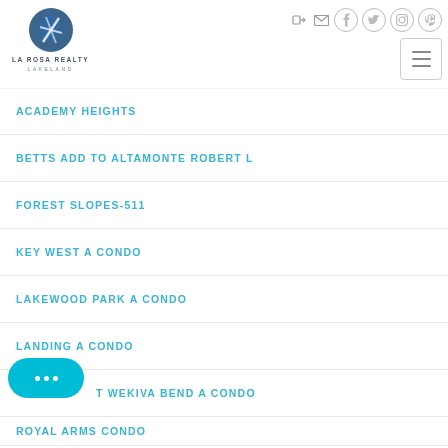[Figure (logo): La Rosa Realty Lakeland logo with circular icon and text]
[Figure (screenshot): Social media icons: login, email, facebook, twitter, instagram, pinterest]
[Figure (other): Hamburger menu button with three horizontal lines]
ACADEMY HEIGHTS
BETTS ADD TO ALTAMONTE ROBERT L
FOREST SLOPES-511
KEY WEST A CONDO
LAKEWOOD PARK A CONDO
LANDING A CONDO
T WEKIVA BEND A CONDO
ROYAL ARMS CONDO
[Figure (other): Live chat button with speech bubble dots icon]